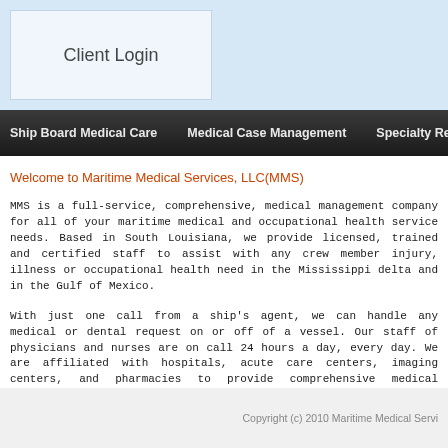Client Login
Ship Board Medical Care   Medical Case Management   Specialty Re
Welcome to Maritime Medical Services, LLC(MMS)
MMS is a full-service, comprehensive, medical management company for all of your maritime medical and occupational health service needs. Based in South Louisiana, we provide licensed, trained and certified staff to assist with any crew member injury, illness or occupational health need in the Mississippi delta and in the Gulf of Mexico.
With just one call from a ship's agent, we can handle any medical or dental request on or off of a vessel. Our staff of physicians and nurses are on call 24 hours a day, every day. We are affiliated with hospitals, acute care centers, imaging centers, and pharmacies to provide comprehensive medical services to those in need anywhere on or off of the Louisiana coastline. We handle the complete transport of the patient, or of the medical providers, to or from the vessel or rig.
Copyright (c) 2010 Maritime Medical Servi